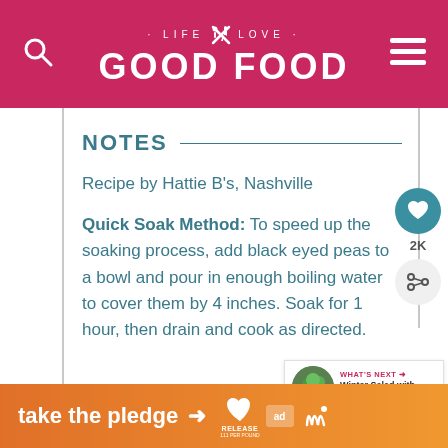LIFE ✕ LOVE · GOOD FOOD
NOTES
Recipe by Hattie B's, Nashville
Quick Soak Method: To speed up the soaking process, add black eyed peas to a bowl and pour in enough boiling water to cover them by 4 inches. Soak for 1 hour, then drain and cook as directed.
Store in the refrigerator for up to 5 days.
[Figure (screenshot): What's Next widget showing Winter Salad with Maple...]
[Figure (infographic): take the pledge advertisement banner]